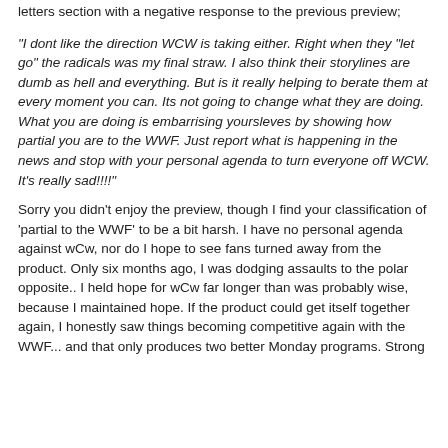letters section with a negative response to the previous preview;
"I dont like the direction WCW is taking either. Right when they "let go" the radicals was my final straw. I also think their storylines are dumb as hell and everything. But is it really helping to berate them at every moment you can. Its not going to change what they are doing. What you are doing is embarrising yoursleves by showing how partial you are to the WWF. Just report what is happening in the news and stop with your personal agenda to turn everyone off WCW. It's really sad!!!!"
Sorry you didn't enjoy the preview, though I find your classification of 'partial to the WWF' to be a bit harsh. I have no personal agenda against wCw, nor do I hope to see fans turned away from the product. Only six months ago, I was dodging assaults to the polar opposite.. I held hope for wCw far longer than was probably wise, because I maintained hope. If the product could get itself together again, I honestly saw things becoming competitive again with the WWF... and that only produces two better Monday programs. Strong